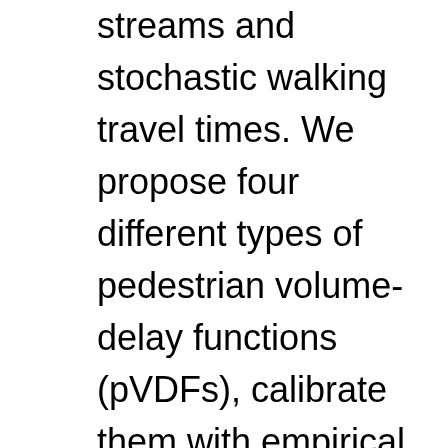streams and stochastic walking travel times. We propose four different types of pedestrian volume-delay functions (pVDFs), calibrate them with empirical data, and discuss their implications on the existence and uniqueness of the traffic assignment solution. We demonstrate the applicability of the developed UE-nTAP framework in